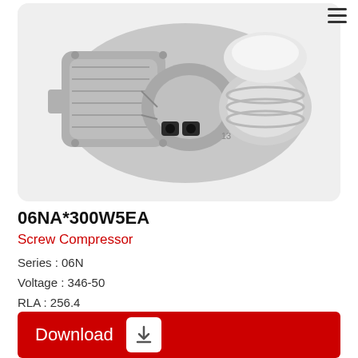[Figure (photo): Photo of a grey screw compressor unit (06NA*300W5EA) viewed from above at an angle, showing mechanical housing, connectors, and cylindrical components on a light grey background.]
06NA*300W5EA
Screw Compressor
Series : 06N
Voltage : 346-50
RLA : 256.4
PF : .86
Download